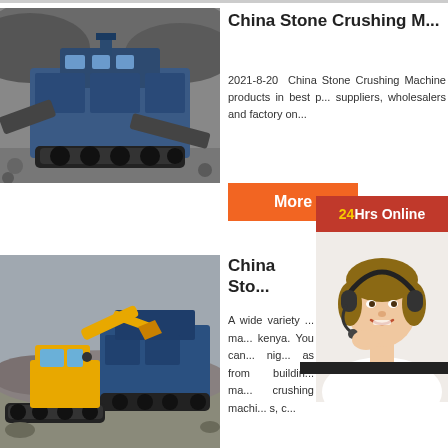[Figure (photo): Large blue industrial stone crushing machine with conveyor belts at a quarry site, black and white/grey tones]
China Stone Crushing M...
2021-8-20  China Stone Crushing Machine products in best p... suppliers, wholesalers and factory on...
More
[Figure (photo): 24Hrs Online customer service representative - woman with headset smiling]
[Figure (screenshot): Chat widget popup with 'Need questions & suggestion?', 'Chat Now' button, 'Enquiry' link, 'limingjlmofen' link]
[Figure (photo): Yellow excavator and blue stone crushing machine at a quarry/construction site]
China Sto... M...
A wide variety ... ma... kenya. You can... nig... as from buildin... ma... crushing machi... s, c...